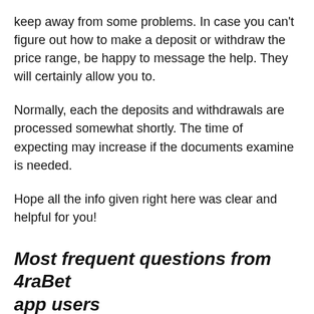keep away from some problems. In case you can't figure out how to make a deposit or withdraw the price range, be happy to message the help. They will certainly allow you to.
Normally, each the deposits and withdrawals are processed somewhat shortly. The time of expecting may increase if the documents examine is needed.
Hope all the info given right here was clear and helpful for you!
Most frequent questions from 4raBet app users